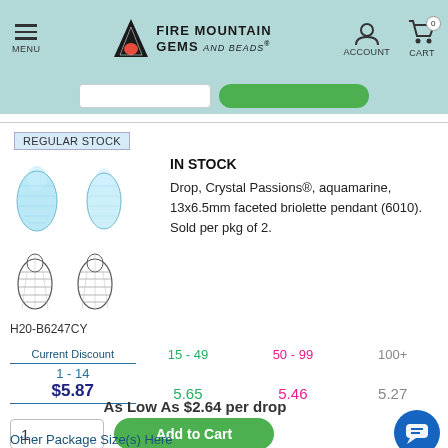[Figure (screenshot): Fire Mountain Gems and Beads website header with logo, menu, account and cart icons on teal background]
REGULAR STOCK
[Figure (photo): Two aquamarine crystal drop pendant beads (blue, faceted briolette) shown from front and side, plus two line-drawing outlines below]
IN STOCK
Drop, Crystal Passions®, aquamarine, 13x6.5mm faceted briolette pendant (6010). Sold per pkg of 2.
H20-B6247CY
| Current Discount | 15 - 49 | 50 - 99 | 100+ |
| --- | --- | --- | --- |
| 1 - 14 | 15 - 49 | 50 - 99 | 100+ |
| $5.87 | 5.65 | 5.46 | 5.27 |
As Low As $2.64 per drop
1
Add to Cart
Other Package Size(s) Here